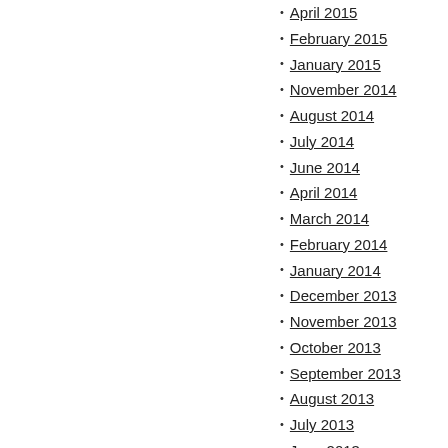April 2015
February 2015
January 2015
November 2014
August 2014
July 2014
June 2014
April 2014
March 2014
February 2014
January 2014
December 2013
November 2013
October 2013
September 2013
August 2013
July 2013
June 2013
May 2013
April 2013
March 2013
February 2013